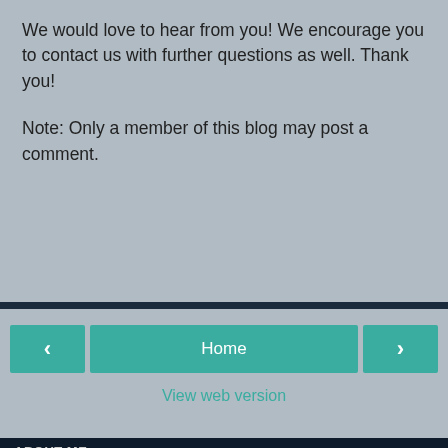We would love to hear from you! We encourage you to contact us with further questions as well. Thank you!
Note: Only a member of this blog may post a comment.
[Figure (screenshot): Navigation bar with left arrow button, Home button, and right arrow button, plus View web version link below]
ABOUT ME
[Figure (logo): Diverging Lives logo: teal heart with mountain/triangle and DL initials]
Nicole {Diverging Lives}
Married 31 years. 8 children. Adoption and Special Needs Advocates. We're not your typical family, but it works for us. Instagram: DivergingLives YouTube: